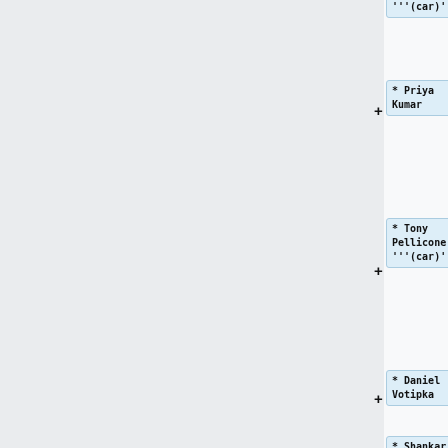'''(car)'''
* Priya Kumar
* Tony Pellicone '''(car)'''
* Daniel Votipka
* Shankar Ramesh
Line 30:
Line 35:
*
*
*
*
*
*
*
*